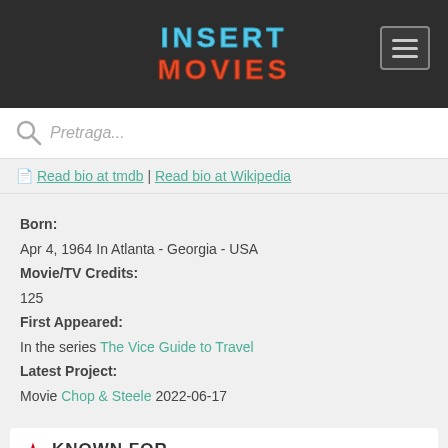[Figure (logo): Insert Movies logo with pixel-style lettering in blue and red/orange colors on dark background header, with hamburger menu icon on the right]
Pretraga...
Read bio at tmdb | Read bio at Wikipedia
Born:
Apr 4, 1964 In Atlanta - Georgia - USA
Movie/TV Credits:
125
First Appeared:
In the series The Vice Guide to Travel
Latest Project:
Movie Chop & Steele 2022-06-17
KNOWN FOR